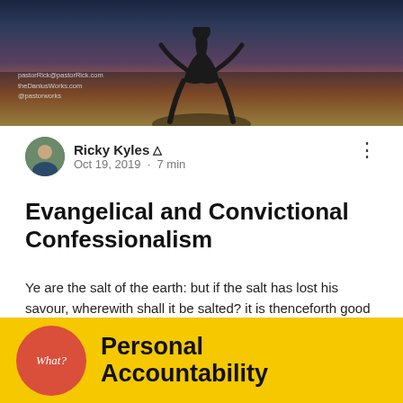[Figure (photo): Silhouette of a person in a dramatic pose against a colorful sunset sky with purple, orange and yellow tones. Text overlay shows website URLs.]
Ricky Kyles 👑
Oct 19, 2019 · 7 min
Evangelical and Convictional Confessionalism
Ye are the salt of the earth: but if the salt has lost his savour, wherewith shall it be salted? it is thenceforth good for nothing, but...
👁 0   💬 0
[Figure (illustration): Yellow background card with red circle containing italic 'What?' text, and bold text 'Personal Accountability' in black.]